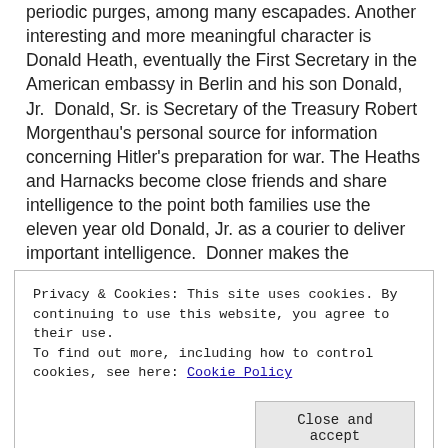periodic purges, among many escapades. Another interesting and more meaningful character is Donald Heath, eventually the First Secretary in the American embassy in Berlin and his son Donald, Jr. Donald, Sr. is Secretary of the Treasury Robert Morgenthau's personal source for information concerning Hitler's preparation for war. The Heaths and Harnacks become close friends and share intelligence to the point both families use the eleven year old Donald, Jr. as a courier to deliver important intelligence. Donner makes the excellent point that American intelligence before the war and early on was deeply flawed containing numerous gaps to base important decisions.
Privacy & Cookies: This site uses cookies. By continuing to use this website, you agree to their use.
To find out more, including how to control cookies, see here: Cookie Policy